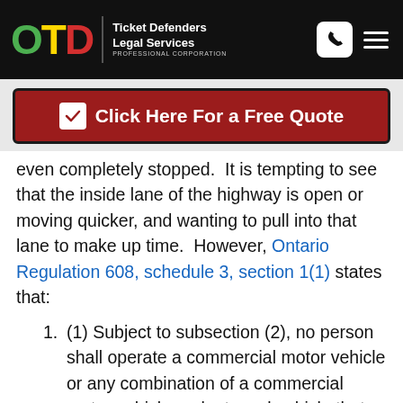OTD Ticket Defenders Legal Services PROFESSIONAL CORPORATION
Click Here For a Free Quote
even completely stopped.  It is tempting to see that the inside lane of the highway is open or moving quicker, and wanting to pull into that lane to make up time.  However, Ontario Regulation 608, schedule 3, section 1(1) states that:
1. (1) Subject to subsection (2), no person shall operate a commercial motor vehicle or any combination of a commercial motor vehicle and a towed vehicle that exceeds 5 metres in